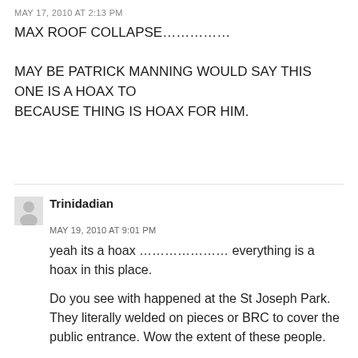MAY 17, 2010 AT 2:13 PM
MAX ROOF COLLAPSE…………

MAY BE PATRICK MANNING WOULD SAY THIS ONE IS A HOAX TO
BECAUSE THING IS HOAX FOR HIM.
Trinidadian
MAY 19, 2010 AT 9:01 PM
yeah its a hoax ………………… everything is a hoax in this place.

Do you see with happened at the St Joseph Park. They literally welded on pieces or BRC to cover the public entrance. Wow the extent of these people.

God do not sleep he sees everything with an open eye